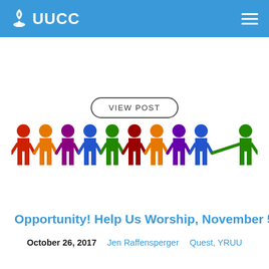UUCC
VIEW POST
[Figure (illustration): Row of colorful human figures holding hands, in red, orange, purple, blue, green, dark red, orange, dark purple, blue, and green colors.]
Opportunity! Help Us Worship, November 5
October 26, 2017   Jen Raffensperger   Quest, YRUU